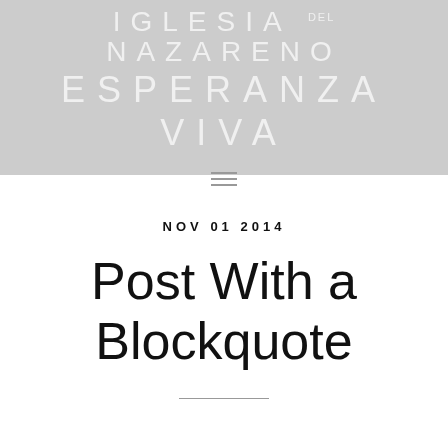IGLESIA DEL NAZARENO ESPERANZA VIVA
NOV 01 2014
Post With a Blockquote